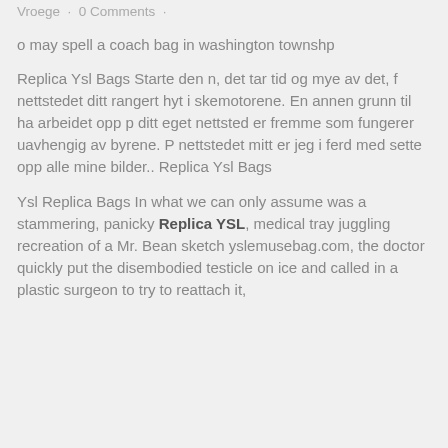Posted at 08:10m in Allgemein by Thomas Vroege · 0 Comments ·
o may spell a coach bag in washington townshp
Replica Ysl Bags Starte den n, det tar tid og mye av det, f nettstedet ditt rangert hyt i skemotorene. En annen grunn til ha arbeidet opp p ditt eget nettsted er fremme som fungerer uavhengig av byrene. P nettstedet mitt er jeg i ferd med sette opp alle mine bilder.. Replica Ysl Bags
Ysl Replica Bags In what we can only assume was a stammering, panicky Replica YSL, medical tray juggling recreation of a Mr. Bean sketch yslemusebag.com, the doctor quickly put the disembodied testicle on ice and called in a plastic surgeon to try to reattach it,